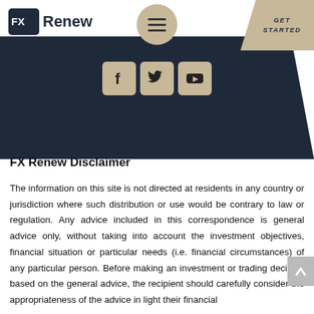[Figure (logo): FX Renew logo with dark box and text]
[Figure (other): Hamburger menu circle button in tan/beige color]
[Figure (other): GET STARTED button area in tan/beige with dark navy text]
[Figure (other): Dark navy diagonal banner background]
[Figure (other): Social media icons row: Facebook, Twitter, YouTube in tan/beige boxes]
FX Renew Disclaimer
The information on this site is not directed at residents in any country or jurisdiction where such distribution or use would be contrary to law or regulation. Any advice included in this correspondence is general advice only, without taking into account the investment objectives, financial situation or particular needs (i.e. financial circumstances) of any particular person. Before making an investment or trading decision based on the general advice, the recipient should carefully consider the appropriateness of the advice in light their financial